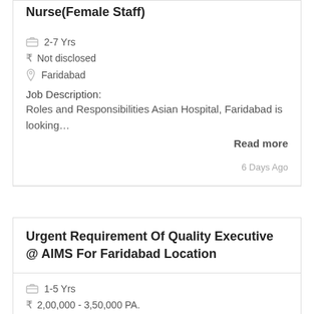Nurse(Female Staff)
2-7 Yrs
Not disclosed
Faridabad
Job Description:
Roles and Responsibilities Asian Hospital, Faridabad is looking…
Read more
6 Days Ago
Urgent Requirement Of Quality Executive @ AIMS For Faridabad Location
1-5 Yrs
₹ 2,00,000 - 3,50,000 PA.
Faridabad(Suraikund Bhadkal Road), Noida